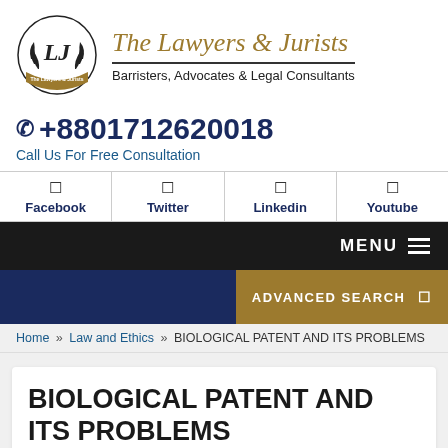[Figure (logo): The Lawyers & Jurists circular emblem logo with LJ monogram and laurel wreath]
The Lawyers & Jurists
Barristers, Advocates & Legal Consultants
+8801712620018
Call Us For Free Consultation
Facebook  Twitter  Linkedin  Youtube
MENU
ADVANCED SEARCH
Home » Law and Ethics » BIOLOGICAL PATENT AND ITS PROBLEMS
BIOLOGICAL PATENT AND ITS PROBLEMS